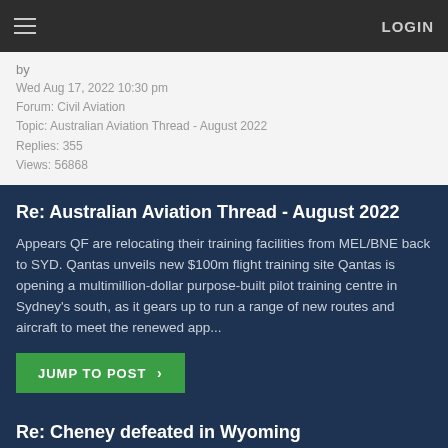LOGIN
by
Wed Aug 17, 2022 10:30 pm
Forum: Civil Aviation
Topic: Australian Aviation Thread - August 2022
Replies: 355
Views: 56868
Re: Australian Aviation Thread - August 2022
Appears QF are relocating their training facilities from MEL/BNE back to SYD. Qantas unveils new $100m flight training site Qantas is opening a multimillion-dollar purpose-built pilot training centre in Sydney’s south, as it gears up to run a range of new routes and aircraft to meet the renewed app...
JUMP TO POST >
by
Wed Aug 17, 2022 10:18 pm
Forum: Non-Aviation
Topic: Cheney defeated in Wyoming
Replies: 107
Views: 5693
Re: Cheney defeated in Wyoming